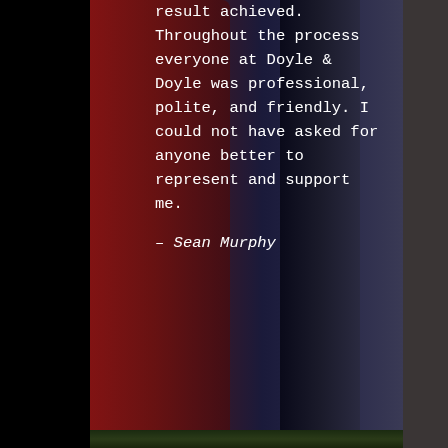[Figure (photo): Dark background image showing what appears to be a red and blue device (possibly a fire extinguisher or industrial equipment) on left, with a dark gradient background. Bottom shows green foliage/trees. Black bars on left and right sides.]
result achieved. Throughout the process everyone at Doyle & Doyle was professional, polite, and friendly. I could not have asked for anyone better to represent and support me.
– Sean Murphy